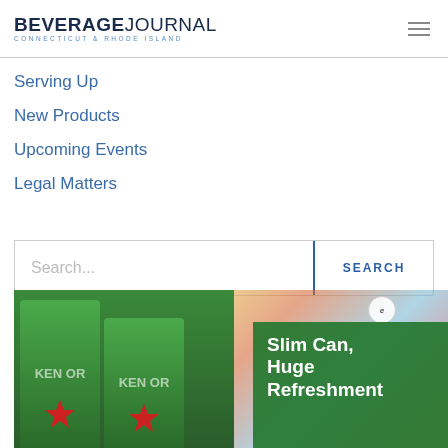BEVERAGE JOURNAL Connecticut & Rhode Island
Serving Up
New Products
Upcoming Events
Legal Matters
Search...
[Figure (photo): Photo of Heineken slim cans with text overlay reading 'Slim Can, Huge Refreshment']